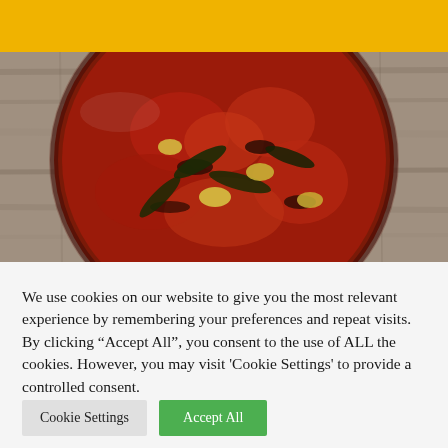[Figure (photo): Top-down view of a bowl of Indian red chutney or pickle with whole garlic cloves, dried chilies, and curry leaves on a wooden surface]
We use cookies on our website to give you the most relevant experience by remembering your preferences and repeat visits. By clicking "Accept All", you consent to the use of ALL the cookies. However, you may visit 'Cookie Settings' to provide a controlled consent.
Cookie Settings
Accept All